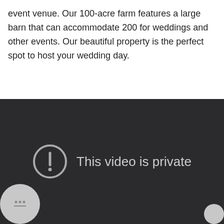event venue. Our 100-acre farm features a large barn that can accommodate 200 for weddings and other events. Our beautiful property is the perfect spot to host your wedding day.
[Figure (screenshot): A video player showing a dark background with a circle exclamation icon and the message 'This video is private'. There is a small circular button in the bottom-left corner and a partial circular button in the bottom-right corner.]